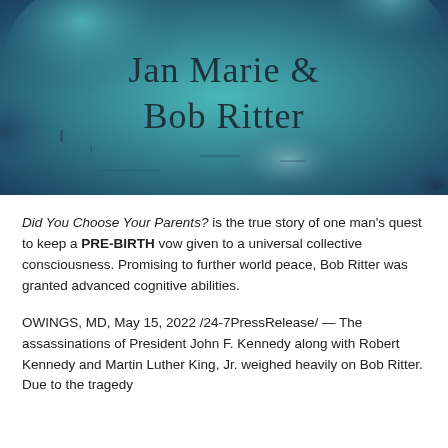[Figure (illustration): Teal and blue textured watercolor background with cursive script text reading 'Jan Marie & Bob Ritter']
Did You Choose Your Parents? is the true story of one man's quest to keep a PRE-BIRTH vow given to a universal collective consciousness. Promising to further world peace, Bob Ritter was granted advanced cognitive abilities.
OWINGS, MD, May 15, 2022 /24-7PressRelease/ — The assassinations of President John F. Kennedy along with Robert Kennedy and Martin Luther King, Jr. weighed heavily on Bob Ritter. Due to the tragedy...